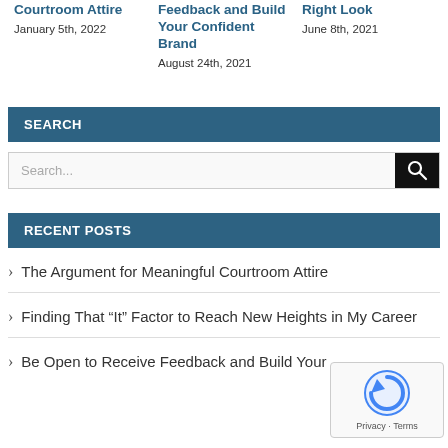Courtroom Attire
January 5th, 2022
Feedback and Build Your Confident Brand
August 24th, 2021
Right Look
June 8th, 2021
SEARCH
Search...
RECENT POSTS
The Argument for Meaningful Courtroom Attire
Finding That “It” Factor to Reach New Heights in My Career
Be Open to Receive Feedback and Build Your